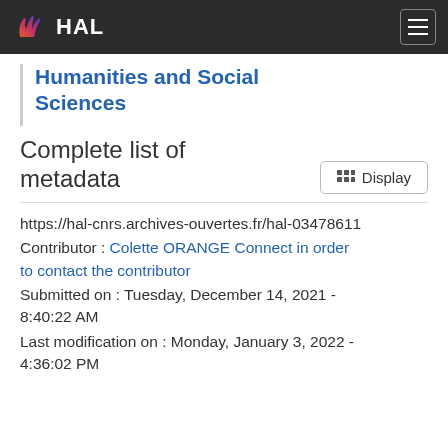HAL
Humanities and Social Sciences
Complete list of metadata
https://hal-cnrs.archives-ouvertes.fr/hal-03478611
Contributor : Colette ORANGE Connect in order to contact the contributor
Submitted on : Tuesday, December 14, 2021 - 8:40:22 AM
Last modification on : Monday, January 3, 2022 - 4:36:02 PM